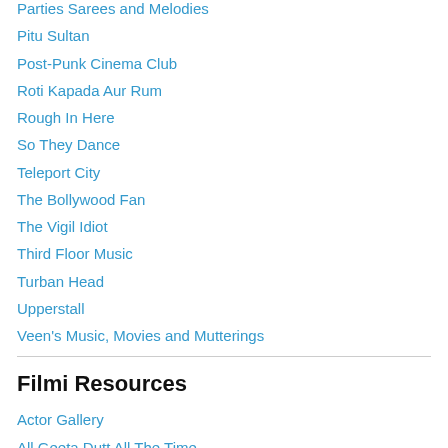Parties Sarees and Melodies
Pitu Sultan
Post-Punk Cinema Club
Roti Kapada Aur Rum
Rough In Here
So They Dance
Teleport City
The Bollywood Fan
The Vigil Idiot
Third Floor Music
Turban Head
Upperstall
Veen's Music, Movies and Mutterings
Filmi Resources
Actor Gallery
All Geeta Dutt All The Time
Ansari Villa
Bollywhatl